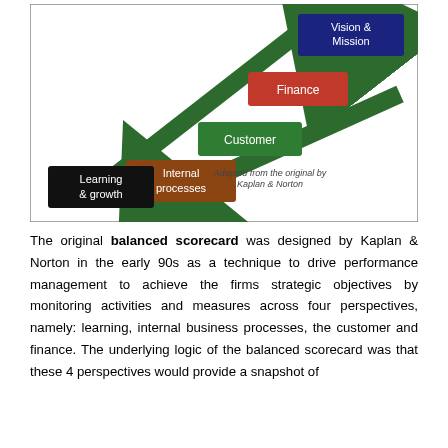[Figure (infographic): Balanced scorecard hierarchy diagram showing two diagonal arrows (one going up-right, one going down-right) with four colored boxes: 'Vision & Mission' (dark blue, top right), 'Finance' (red, upper middle), 'Customer' (dark green, middle), 'Internal processes' (brown/orange, lower left), 'Learning & growth' (black, bottom left). Caption: 'Adapted from the original by Kaplan & Norton'.]
The original balanced scorecard was designed by Kaplan & Norton in the early 90s as a technique to drive performance management to achieve the firms strategic objectives by monitoring activities and measures across four perspectives, namely: learning, internal business processes, the customer and finance. The underlying logic of the balanced scorecard was that these 4 perspectives would provide a snapshot of